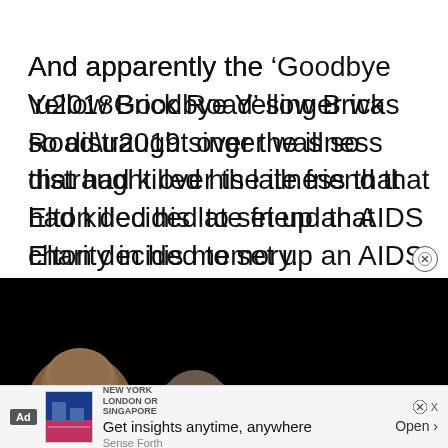And apparently the ‘Goodbye Yellow Brick Road’ singer was so distraught over the illness that had killed his late friend that Elton decided to set up an AIDS charity in his memory.
[Figure (photo): Dark photo showing a man smiling, partially visible against a black background, with another person partially visible beside him.]
Ad | NEW YORK LONDON OR SINGAPORE | Get insights anytime, anywhere | Sense Forth | Open >